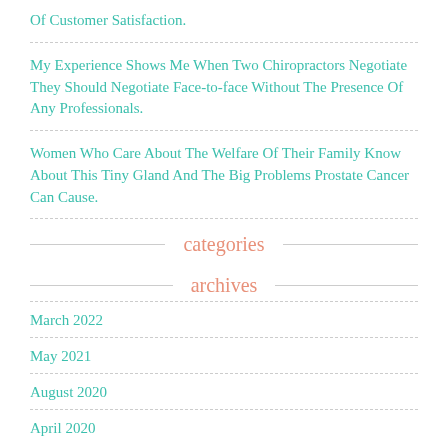Of Customer Satisfaction.
My Experience Shows Me When Two Chiropractors Negotiate They Should Negotiate Face-to-face Without The Presence Of Any Professionals.
Women Who Care About The Welfare Of Their Family Know About This Tiny Gland And The Big Problems Prostate Cancer Can Cause.
categories
archives
March 2022
May 2021
August 2020
April 2020